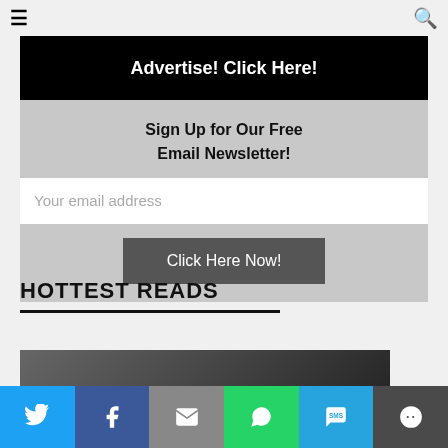≡  🔍
[Figure (infographic): Black banner with white bold text: Advertise! Click Here!]
Sign Up for Our Free Email Newsletter!
Your email address
Click Here Now!
HOTTEST READS
[Figure (photo): Partial photo of a person, shown at bottom of page]
Twitter | Facebook | Email | WhatsApp | SMS | More